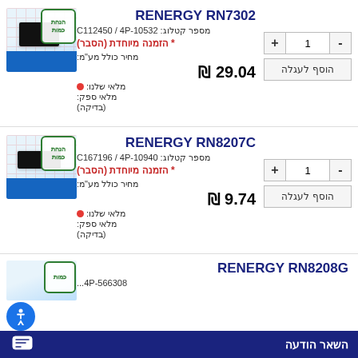RENERGY RN7302
מספר קטלוג: C112450 / 4P-10532
* הזמנה מיוחדת (הסבר)
מחיר כולל מע"מ:
₪ 29.04
מלאי שלנו:
מלאי ספק:
(בדיקה)
[Figure (photo): RENERGY RN7302 chip on blue platform with quantity discount badge]
RENERGY RN8207C
מספר קטלוג: C167196 / 4P-10940
* הזמנה מיוחדת (הסבר)
מחיר כולל מע"מ:
₪ 9.74
מלאי שלנו:
מלאי ספק:
(בדיקה)
[Figure (photo): RENERGY RN8207C chip on blue platform with quantity discount badge]
RENERGY RN8208G
4P-566308...
השאר הודעה